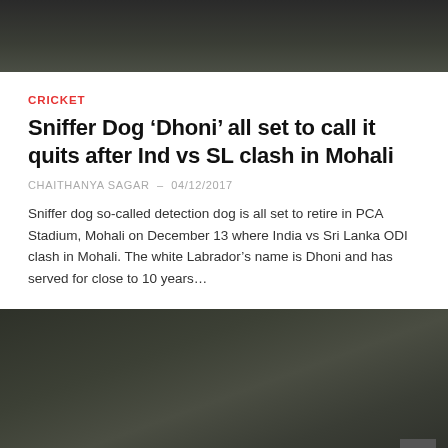[Figure (photo): Dark blurred photograph, top of page]
CRICKET
Sniffer Dog ‘Dhoni’ all set to call it quits after Ind vs SL clash in Mohali
CHAITHANYA SAGAR - 04/12/2017
Sniffer dog so-called detection dog is all set to retire in PCA Stadium, Mohali on December 13 where India vs Sri Lanka ODI clash in Mohali. The white Labrador’s name is Dhoni and has served for close to 10 years…
[Figure (photo): Dark blurred photograph, bottom of page]